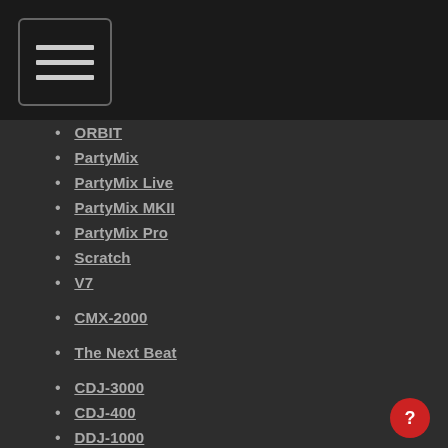[Figure (other): Navigation menu hamburger button with three horizontal lines inside a rounded rectangle border]
ORBIT
PartyMix
PartyMix Live
PartyMix MKII
PartyMix Pro
Scratch
V7
CMX-2000
The Next Beat
CDJ-3000
CDJ-400
DDJ-1000
DDJ-1000SRT
DDJ-200
DDJ-400
DDJ-800
DDJ-Ergo
DDJ-FLX6
DDJ-RB
DDJ-REV1
DDJ-REV7